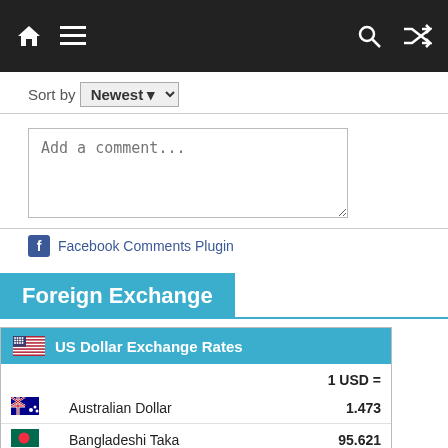Navigation bar with home, menu, search, and shuffle icons
Sort by Newest
[Figure (screenshot): Add a comment... text input box]
Facebook Comments Plugin
Foreign Exchange
| Currency | 1 USD = |
| --- | --- |
| Australian Dollar | 1.473 |
| Bangladeshi Taka | 95.621 |
| Brunei Dollar | 1.408 |
| CFA Franc BCEAO | 658.806 |
| Chinese Yuan Renminbi | 6.903 |
| Fiji Dollar | 2.232 |